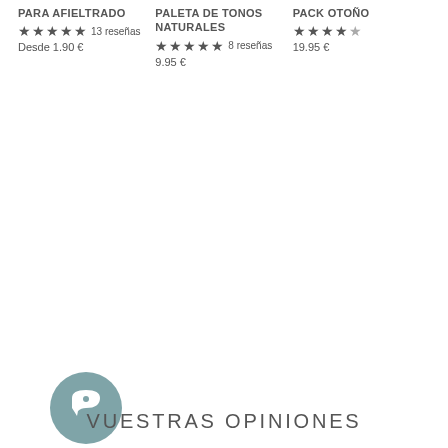PARA AFIELTRADO ★★★★★ 13 reseñas Desde 1.90 €
PALETA DE TONOS NATURALES ★★★★★ 8 reseñas 9.95 €
PACK OTOÑO ★★★★☆ 19.95 €
← VOLVER A LANAS
[Figure (illustration): Chat/comment bubble icon in teal/grey circle]
VUESTRAS OPINIONES